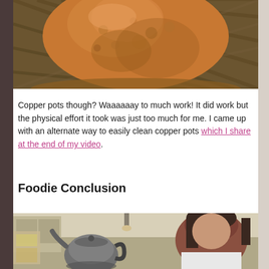[Figure (photo): Close-up photo of a copper pot bottom sitting on a wicker/rattan mat surface]
Copper pots though? Waaaaaay to much work! It did work but the physical effort it took was just too much for me. I came up with an alternate way to easily clean copper pots which I share at the end of my video.
Foodie Conclusion
[Figure (photo): Photo of a woman with dark hair in a kitchen, with a metal tea kettle visible in the foreground]